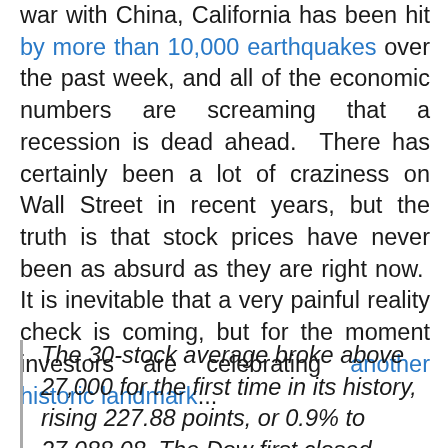war with China, California has been hit by more than 10,000 earthquakes over the past week, and all of the economic numbers are screaming that a recession is dead ahead.  There has certainly been a lot of craziness on Wall Street in recent years, but the truth is that stock prices have never been as absurd as they are right now.  It is inevitable that a very painful reality check is coming, but for the moment investors are celebrating another historic landmark...
The 30-stock average broke above 27,000 for the first time in its history, rising 227.88 points, or 0.9% to 27,088.08. The Dow first closed above 26,000 in January of